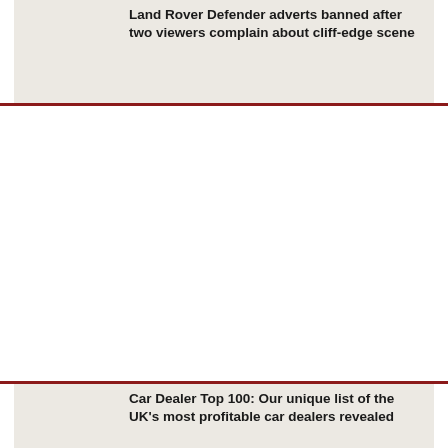Land Rover Defender adverts banned after two viewers complain about cliff-edge scene
Car Dealer Top 100: Our unique list of the UK's most profitable car dealers revealed